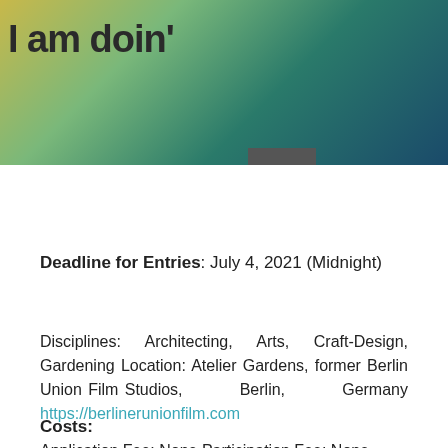[Figure (photo): Colorful artistic/garden background image with yellow, green and teal colors, with overlaid bold text reading 'I am doin'' and a grey hamburger menu button]
Deadline for Entries: July 4, 2021 (Midnight)
Disciplines: Architecting, Arts, Craft-Design, Gardening Location: Atelier Gardens, former Berlin Union Film Studios, Berlin, Germany https://berlinerunionfilm.com
Costs:
Application Fee: None Participation Fee: None